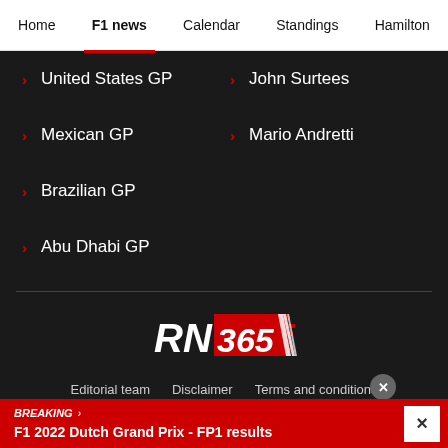Home | F1 news | Calendar | Standings | Hamilton
United States GP
Mexican GP
Brazilian GP
Abu Dhabi GP
John Surtees
Mario Andretti
[Figure (logo): RN365 logo — white bold italic 'RN' text next to a red rectangle with white bold '365' and red speed stripes]
Editorial team  Disclaimer  Terms and conditions  Privacy Policy  Contact  Privacy manager
BREAKING > F1 2022 Dutch Grand Prix - FP1 results